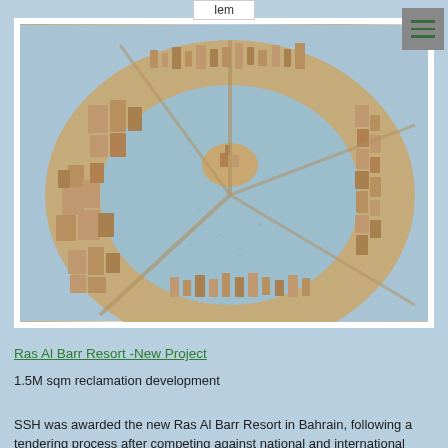Iem
[Figure (photo): Architectural scale model of Ras Al Barr Resort showing a circular coastal development with reclaimed land, featuring detailed building models arranged in a ring pattern around a central water area, photographed from an elevated angle. The model appears to be made of light-colored wood/cardboard on a blue base.]
Ras Al Barr Resort -New Project
1.5M sqm reclamation development
SSH was awarded the new Ras Al Barr Resort in Bahrain, following a tendering process after competing against national and international firms for